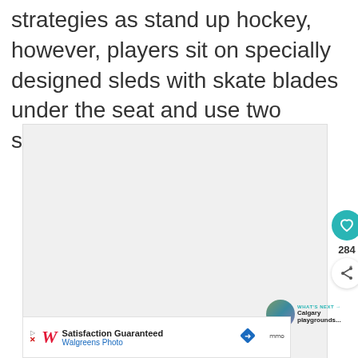strategies as stand up hockey, however, players sit on specially designed sleds with skate blades under the seat and use two sticks.
[Figure (photo): A large light gray placeholder image box representing a photo, with UI overlay elements including a teal heart/like button showing 284 likes, a share button, and a 'What's Next' thumbnail link to 'Calgary playgrounds...']
[Figure (screenshot): Advertisement bar for Walgreens Photo: 'Satisfaction Guaranteed' with Walgreens logo, a blue navigation arrow icon, and additional icon on the right.]